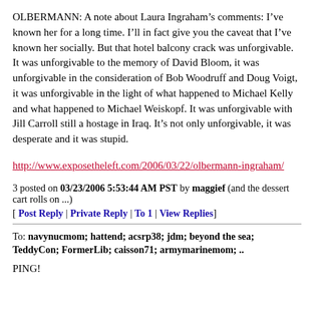OLBERMANN: A note about Laura Ingraham’s comments: I’ve known her for a long time. I’ll in fact give you the caveat that I’ve known her socially. But that hotel balcony crack was unforgivable. It was unforgivable to the memory of David Bloom, it was unforgivable in the consideration of Bob Woodruff and Doug Voigt, it was unforgivable in the light of what happened to Michael Kelly and what happened to Michael Weiskopf. It was unforgivable with Jill Carroll still a hostage in Iraq. It’s not only unforgivable, it was desperate and it was stupid.
http://www.exposetheleft.com/2006/03/22/olbermann-ingraham/
3 posted on 03/23/2006 5:53:44 AM PST by maggief (and the dessert cart rolls on ...)
[ Post Reply | Private Reply | To 1 | View Replies]
To: navynucmom; hattend; acsrp38; jdm; beyond the sea; TeddyCon; FormerLib; caisson71; armymarinemom; ..
PING!